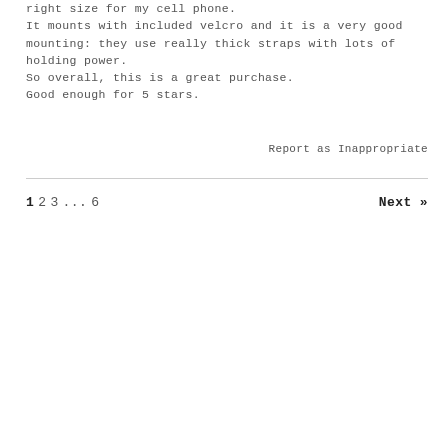right size for my cell phone.
It mounts with included velcro and it is a very good mounting: they use really thick straps with lots of holding power.
So overall, this is a great purchase.
Good enough for 5 stars.
Report as Inappropriate
1 2 3 ... 6   Next »